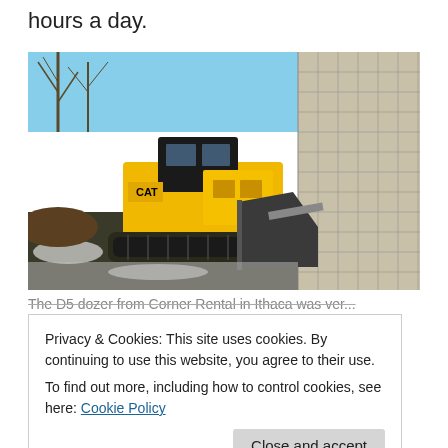hours a day.
[Figure (photo): Yellow CAT bulldozer/dozer with blade, parked near a large cylindrical silo structure, bare winter trees in background, snow on ground.]
The D5 dozer from Corner Rental in Ithaca was ver...
Privacy & Cookies: This site uses cookies. By continuing to use this website, you agree to their use.
To find out more, including how to control cookies, see here: Cookie Policy
Close and accept
the winter unless you're a masochist.